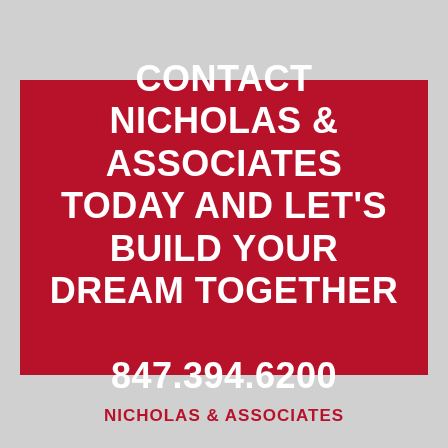CONTACT NICHOLAS & ASSOCIATES TODAY AND LET'S BUILD YOUR DREAM TOGETHER 847.394.6200
NICHOLAS & ASSOCIATES